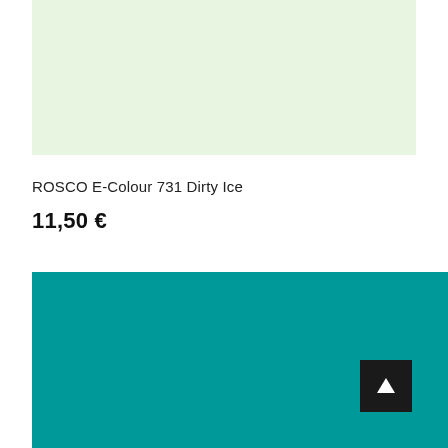[Figure (other): Light green/pale color swatch rectangle at the top of the page]
ROSCO E-Colour 731 Dirty Ice
11,50 €
[Figure (other): Teal/dark cyan color swatch rectangle filling the lower portion of the page, with a black back-to-top arrow button in the bottom-right corner]